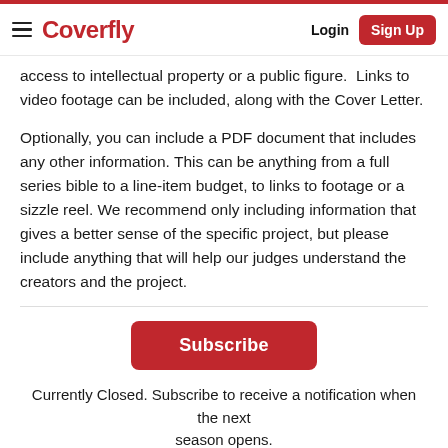Coverfly — Login | Sign Up
access to intellectual property or a public figure.  Links to video footage can be included, along with the Cover Letter.
Optionally, you can include a PDF document that includes any other information. This can be anything from a full series bible to a line-item budget, to links to footage or a sizzle reel. We recommend only including information that gives a better sense of the specific project, but please include anything that will help our judges understand the creators and the project.
Subscribe
Currently Closed. Subscribe to receive a notification when the next season opens.